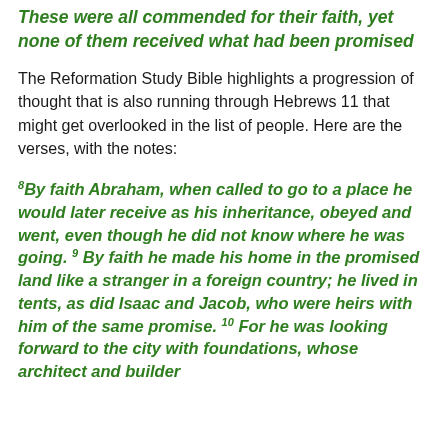These were all commended for their faith, yet none of them received what had been promised
The Reformation Study Bible highlights a progression of thought that is also running through Hebrews 11 that might get overlooked in the list of people. Here are the verses, with the notes:
8By faith Abraham, when called to go to a place he would later receive as his inheritance, obeyed and went, even though he did not know where he was going. 9 By faith he made his home in the promised land like a stranger in a foreign country; he lived in tents, as did Isaac and Jacob, who were heirs with him of the same promise. 10 For he was looking forward to the city with foundations, whose architect and builder